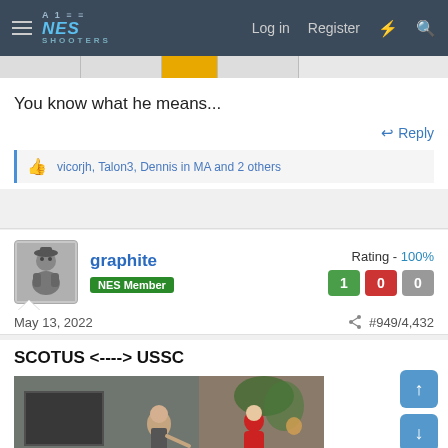NES Shooters — Log in  Register
You know what he means...
Reply
vicorjh, Talon3, Dennis in MA and 2 others
graphite  NES Member  Rating - 100%  1  0  0
May 13, 2022  #949/4,432
SCOTUS <----> USSC
[Figure (photo): Photo showing two people, one appears to be an older bald man gesturing, and another person in a red outfit, in a room with plants visible in the background.]